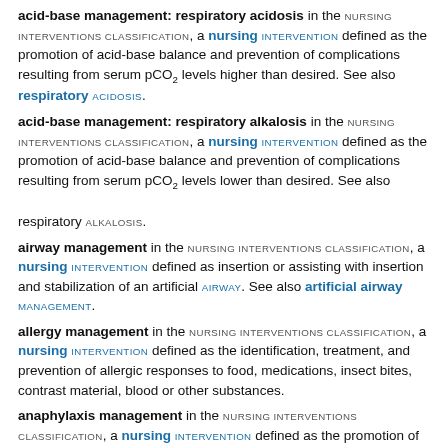acid-base management: respiratory acidosis in the NURSING INTERVENTIONS CLASSIFICATION, a nursing INTERVENTION defined as the promotion of acid-base balance and prevention of complications resulting from serum pCO2 levels higher than desired. See also respiratory ACIDOSIS.
acid-base management: respiratory alkalosis in the NURSING INTERVENTIONS CLASSIFICATION, a nursing INTERVENTION defined as the promotion of acid-base balance and prevention of complications resulting from serum pCO2 levels lower than desired. See also respiratory ALKALOSIS.
airway management in the NURSING INTERVENTIONS CLASSIFICATION, a nursing INTERVENTION defined as insertion or assisting with insertion and stabilization of an artificial AIRWAY. See also artificial airway MANAGEMENT.
allergy management in the NURSING INTERVENTIONS CLASSIFICATION, a nursing INTERVENTION defined as the identification, treatment, and prevention of allergic responses to food, medications, insect bites, contrast material, blood or other substances.
anaphylaxis management in the NURSING INTERVENTIONS CLASSIFICATION, a nursing INTERVENTION defined as the promotion of adequate ventilation